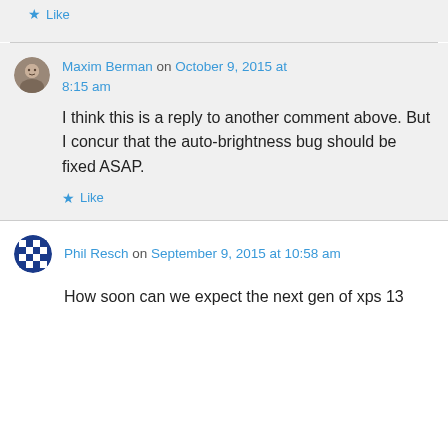Like
Maxim Berman on October 9, 2015 at 8:15 am
I think this is a reply to another comment above. But I concur that the auto-brightness bug should be fixed ASAP.
Like
Phil Resch on September 9, 2015 at 10:58 am
How soon can we expect the next gen of xps 13